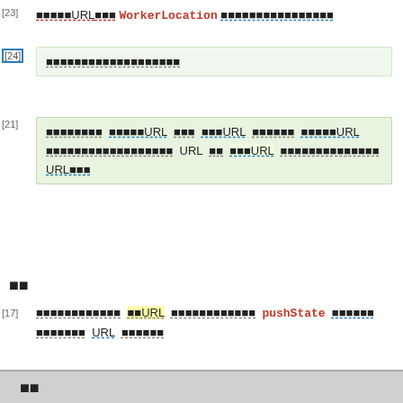[23] ■■■■■URL■■■ WorkerLocation ■■■■■■■■■■■■■■■■
[24] ■■■■■■■■■■■■■■■■■■
[21] ■■■■■■■■ ■■■■■URL ■■■ ■■■URL ■■■■■■ ■■■■■URL ■■■■■■■■■■■■■■■■■■ URL ■■ ■■■URL ■■■■■■■■■■■■■■ URL■■■
■■
[17] ■■■■■■■■■■■■ ■■URL ■■■■■■■■■■■■ pushState ■■■■■■ ■■■■■■■ URL ■■■■■■
■■